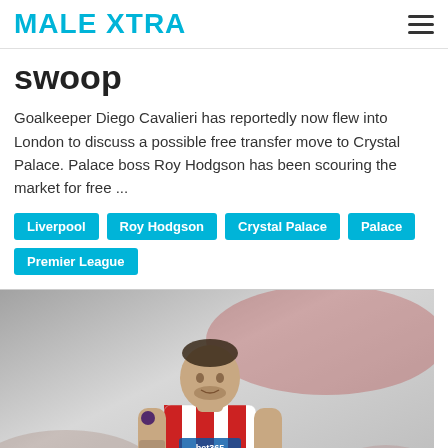MALE XTRA
swoop
Goalkeeper Diego Cavalieri has reportedly now flew into London to discuss a possible free transfer move to Crystal Palace. Palace boss Roy Hodgson has been scouring the market for free ...
Liverpool
Roy Hodgson
Crystal Palace
Palace
Premier League
[Figure (photo): A football player wearing a red and white striped Stoke City jersey with bet365 sponsor, running on the pitch during a Premier League match.]